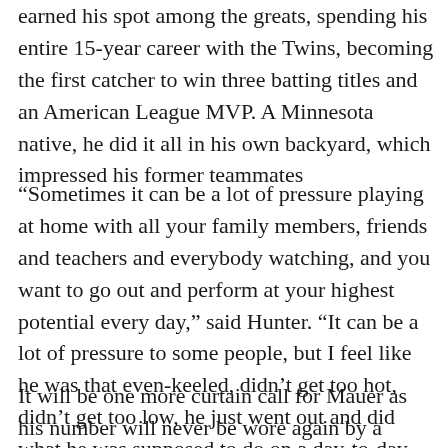earned his spot among the greats, spending his entire 15-year career with the Twins, becoming the first catcher to win three batting titles and an American League MVP. A Minnesota native, he did it all in his own backyard, which impressed his former teammates
“Sometimes it can be a lot of pressure playing at home with all your family members, friends and teachers and everybody watching, and you want to go out and perform at your highest potential every day,” said Hunter. “It can be a lot of pressure to some people, but I feel like he was that even-keeled, didn’t get too hot, didn’t get too low, he just went out and did what he was supposed to do on a day-to-day basis.”
It will be one more curtain call for Mauer as his number will never be wore again by a Twins player after Saturday night...